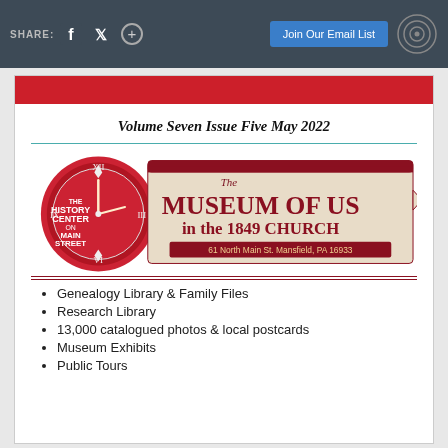SHARE: [facebook] [twitter] [+]  |  Join Our Email List  [Constant Contact icon]
Volume Seven Issue Five May 2022
[Figure (logo): The History Center on Main Street - The Museum Of Us in the 1849 Church, 61 North Main St. Mansfield, PA 16933]
Genealogy Library & Family Files
Research Library
13,000 catalogued photos & local postcards
Museum Exhibits
Public Tours